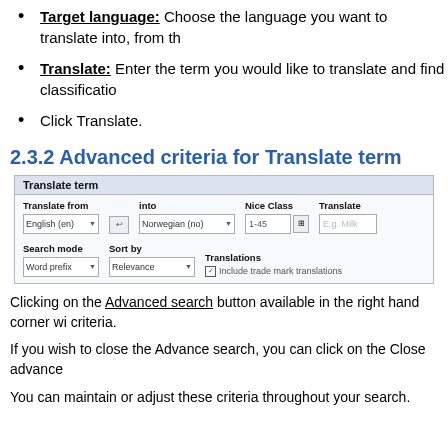Target language: Choose the language you want to translate into, from th
Translate: Enter the term you would like to translate and find classificatio
Click Translate.
2.3.2 Advanced criteria for Translate term
[Figure (screenshot): Screenshot of the Translate term panel showing fields: Translate from (English (en)), into (Norwegian (no)), Nice Class (1-45), Translate (E.g. Milk), Search mode (Word prefix), Sort by (Relevance), Translations (Include trade mark translations checkbox checked).]
Clicking on the Advanced search button available in the right hand corner wi criteria.
If you wish to close the Advance search, you can click on the Close advance
You can maintain or adjust these criteria throughout your search.